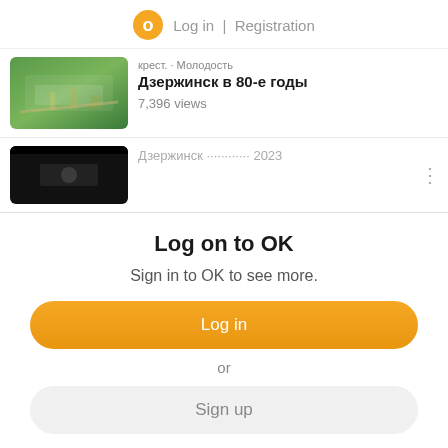Log in | Registration
[Figure (screenshot): Thumbnail of aerial city view (Дзержинск)]
Дзержинск в 80-е годы
7,396 views
[Figure (screenshot): Second video thumbnail (dark)]
Log on to OK
Sign in to OK to see more.
Log in
or
Sign up
Sign in with
[Figure (infographic): Social login icons: VK, Mail, Google, Yandex, Apple]